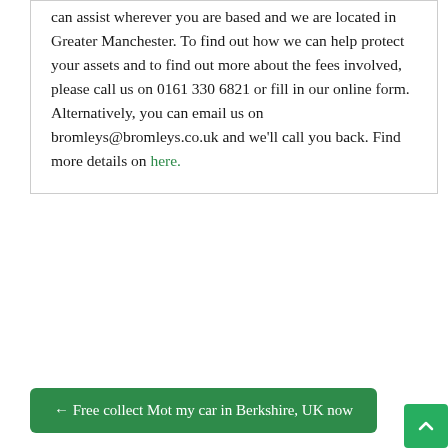can assist wherever you are based and we are located in Greater Manchester. To find out how we can help protect your assets and to find out more about the fees involved, please call us on 0161 330 6821 or fill in our online form. Alternatively, you can email us on bromleys@bromleys.co.uk and we'll call you back. Find more details on here.
← Free collect Mot my car in Berkshire, UK now
Buy high quality CSGO accounts safely